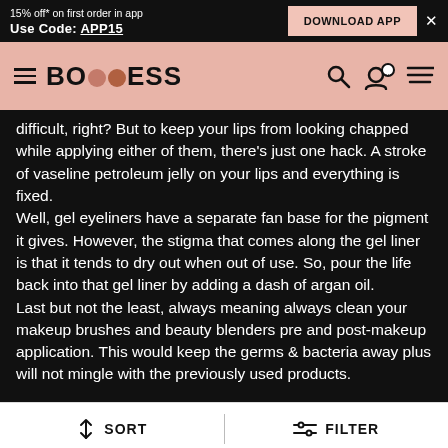15% off* on first order in app Use Code: APP15 | DOWNLOAD APP
BODDESS (logo/nav bar)
difficult, right? But to keep your lips from looking chapped while applying either of them, there's just one hack. A stroke of vaseline petroleum jelly on your lips and everything is fixed. Well, gel eyeliners have a separate fan base for the pigment it gives. However, the stigma that comes along the gel liner is that it tends to dry out when out of use. So, pour the life back into that gel liner by adding a dash of argan oil. Last but not the least, always meaning always clean your makeup brushes and beauty blenders pre and post-makeup application. This would keep the germs & bacteria away plus will not mingle with the previously used products.
SORT | FILTER